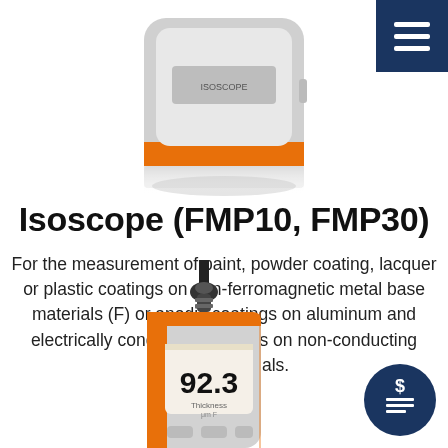[Figure (photo): Top portion of Isoscope FMP10/FMP30 device – a compact grey and orange square-shaped instrument with orange accent stripe, showing top view with partial reflection below]
Isoscope (FMP10, FMP30)
For the measurement of paint, powder coating, lacquer or plastic coatings on non-ferromagnetic metal base materials (F) or anodic coatings on aluminum and electrically conducted coatings on non-conducting carrier materials.
[Figure (photo): Bottom portion: Isoscope FMP30 handheld coating thickness gauge with probe attached on top, orange accent color, digital LCD display showing reading 92.3, label reading Thickness]
[Figure (other): Dark navy circular icon button with dollar sign and document/lines symbol representing pricing]